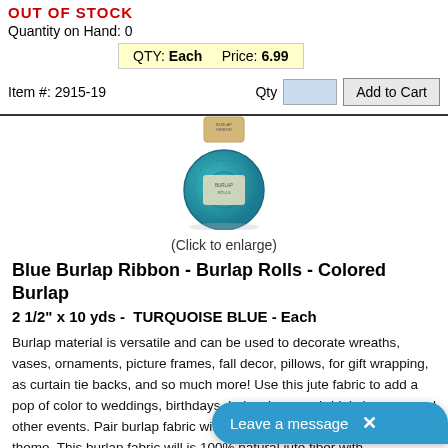OUT OF STOCK
Quantity on Hand: 0
QTY: Each   Price: 6.99
Item #: 2915-19
Qty  [input]  Add to Cart
[Figure (photo): Roll of turquoise blue burlap ribbon with product label]
(Click to enlarge)
Blue Burlap Ribbon - Burlap Rolls - Colored Burlap
2 1/2" x 10 yds -  TURQUOISE BLUE - Each
Burlap material is versatile and can be used to decorate wreaths, vases, ornaments, picture frames, fall decor, pillows, for gift wrapping, as curtain tie backs, and so much more! Use this jute fabric to add a pop of color to weddings, birthdays, baby showers, bridal showers, and other events. Pair burlap fabric with other colored burlap or lace to theme. This burlap fabric will is 100% natural jute fiber with...
Leave a message  X